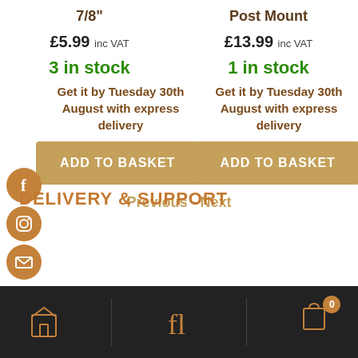7/8"
Post Mount
£5.99 inc VAT
£13.99 inc VAT
3 in stock
1 in stock
Get it by Tuesday 30th August with express delivery
Get it by Tuesday 30th August with express delivery
ADD TO BASKET
ADD TO BASKET
Previous - Next
DELIVERY & SUPPORT
[Figure (infographic): Three social media icons stacked vertically: Facebook (f), Instagram (camera), and email (envelope), each in a brown circle on the left side of the page]
Footer navigation bar with home icon, font icon, and cart icon with badge showing 0